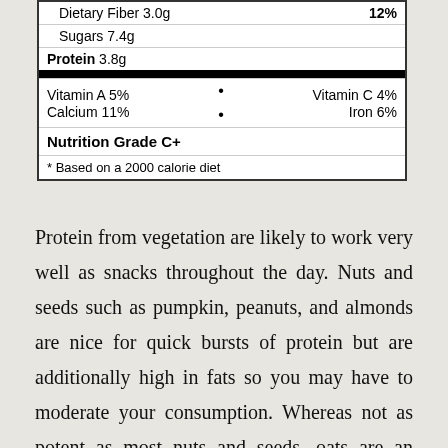| Dietary Fiber 3.0g | 12% |
| Sugars 7.4g |  |
| Protein 3.8g |  |
| Vitamin A 5%  •  Vitamin C 4% |  |
| Calcium 11%  •  Iron 6% |  |
| Nutrition Grade C+ |  |
| * Based on a 2000 calorie diet |  |
Protein from vegetation are likely to work very well as snacks throughout the day. Nuts and seeds such as pumpkin, peanuts, and almonds are nice for quick bursts of protein but are additionally high in fats so you may have to moderate your consumption. Whereas not as potent as most nuts and seeds, oats are an excellent source of each carbohydrates and protein and can make for a strong base for breakfast.